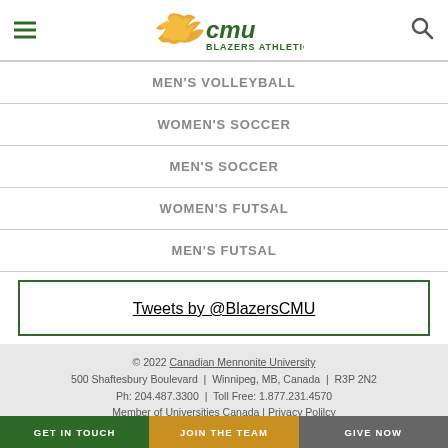CMU Blazers Athletics
MEN'S VOLLEYBALL
WOMEN'S SOCCER
MEN'S SOCCER
WOMEN'S FUTSAL
MEN'S FUTSAL
Tweets by @BlazersCMU
© 2022 Canadian Mennonite University
500 Shaftesbury Boulevard | Winnipeg, MB, Canada | R3P 2N2
Ph: 204.487.3300 | Toll Free: 1.877.231.4570
Member of Universities Canada | Privacy Polilcy
GET IN TOUCH | JOIN THE TEAM | GIVE NOW